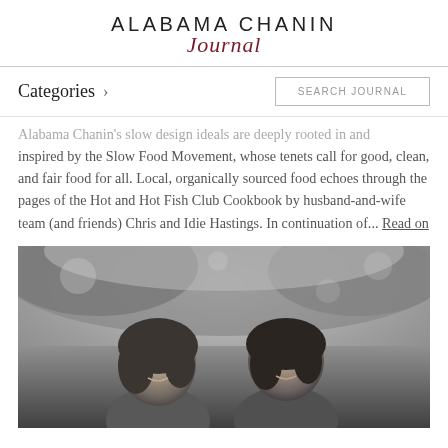ALABAMA CHANIN Journal
Categories >
SEARCH JOURNAL
Alabama Chanin's slow design ideals are deeply rooted in and inspired by the Slow Food Movement, whose tenets call for good, clean, and fair food for all. Local, organically sourced food echoes through the pages of the Hot and Hot Fish Club Cookbook by husband-and-wife team (and friends) Chris and Idie Hastings. In continuation of... Read on
[Figure (photo): Black and white photograph of two women smiling and leaning together outdoors, with blurred trees in the background.]